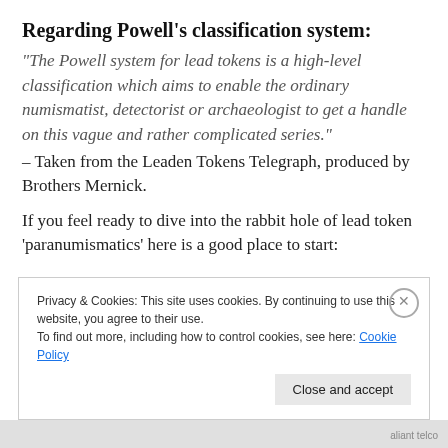Regarding Powell's classification system:
“The Powell system for lead tokens is a high-level classification which aims to enable the ordinary numismatist, detectorist or archaeologist to get a handle on this vague and rather complicated series.” – Taken from the Leaden Tokens Telegraph, produced by Brothers Mernick.
If you feel ready to dive into the rabbit hole of lead token ‘paranumismatics’ here is a good place to start:
Privacy & Cookies: This site uses cookies. By continuing to use this website, you agree to their use.
To find out more, including how to control cookies, see here: Cookie Policy